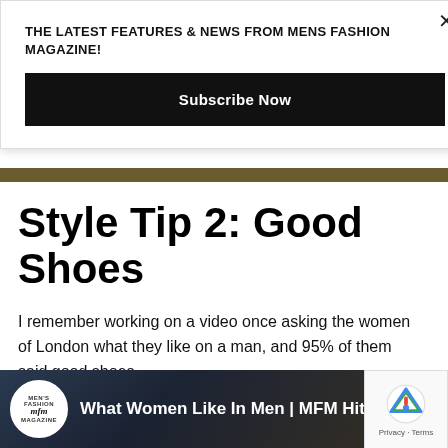THE LATEST FEATURES & NEWS FROM MENS FASHION MAGAZINE!
Subscribe Now
Style Tip 2: Good Shoes
I remember working on a video once asking the women of London what they like on a man, and 95% of them said good shoes.
[Figure (screenshot): Video thumbnail showing 'What Women Like In Men | MFM Hit...' with MFM magazine logo and a woman wearing a black hat]